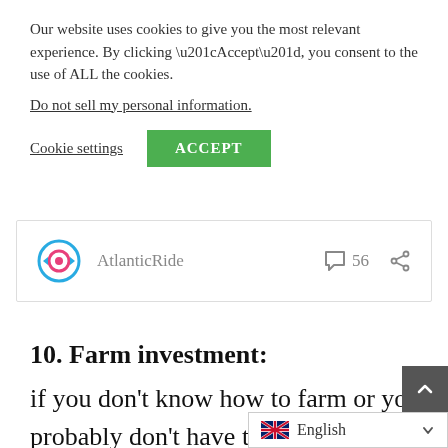Our website uses cookies to give you the most relevant experience. By clicking “Accept”, you consent to the use of ALL the cookies.
Do not sell my personal information.
Cookie settings   ACCEPT
[Figure (logo): AtlanticRide logo with comment icon showing 56 and a share icon]
10. Farm investment:
if you don’t know how to farm or you probably don’t have the time to farm, you can invest in companies and individuals who offer investment o u